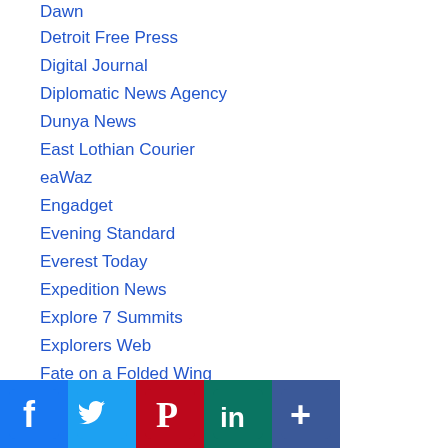Dawn
Detroit Free Press
Digital Journal
Diplomatic News Agency
Dunya News
East Lothian Courier
eaWaz
Engadget
Evening Standard
Everest Today
Expedition News
Explore 7 Summits
Explorers Web
Fate on a Folded Wing
First Republic Bank
Forbes
Fortworth
Fox...
Gear Junkie